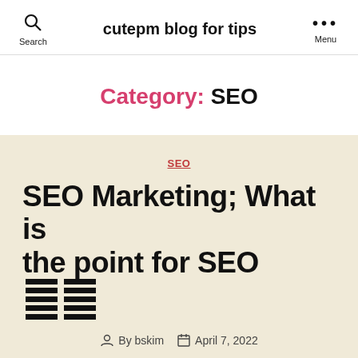cutepm blog for tips
Category: SEO
SEO
SEO Marketing; What is the point for SEO 🟰🟰
By bskim   April 7, 2022
What exactly is SEO